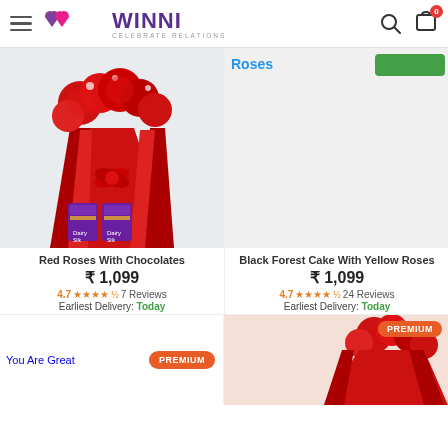WINNI CELEBRATE RELATIONS — navigation header with hamburger menu, search, and cart icons
[Figure (photo): Red roses bouquet wrapped in red paper with two Cadbury Silk chocolates at the base, on a light grey background]
Roses
Red Roses With Chocolates
₹ 1,099
4.7 ★★★★½ 7 Reviews
Earliest Delivery: Today
Black Forest Cake With Yellow Roses
₹ 1,099
4.7 ★★★★½ 24 Reviews
Earliest Delivery: Today
[Figure (photo): You Are Great product placeholder image with PREMIUM badge]
[Figure (photo): Red roses bouquet wrapped in red paper with PREMIUM badge on peach background]